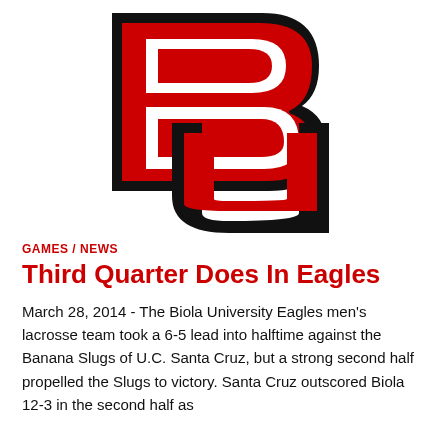[Figure (logo): Biola University BU logo in red and black]
GAMES / NEWS
Third Quarter Does In Eagles
March 28, 2014 - The Biola University Eagles men's lacrosse team took a 6-5 lead into halftime against the Banana Slugs of U.C. Santa Cruz, but a strong second half propelled the Slugs to victory. Santa Cruz outscored Biola 12-3 in the second half as